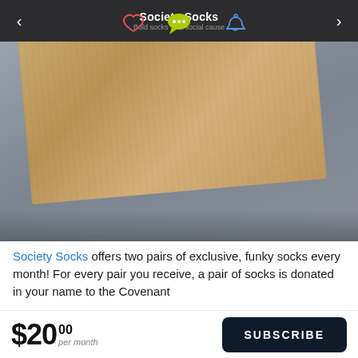[Figure (screenshot): Screenshot of a mobile app showing Society Socks product page. Dark top navigation bar with Society Socks branding, heart icon, speech bubble icon, and bell icon. Left and right navigation arrows. Main image shows a kraft/cardboard padded envelope on a gray background.]
Society Socks offers two pairs of exclusive, funky socks every month! For every pair you receive, a pair of socks is donated in your name to the Covenant
$20 00 per month
SUBSCRIBE